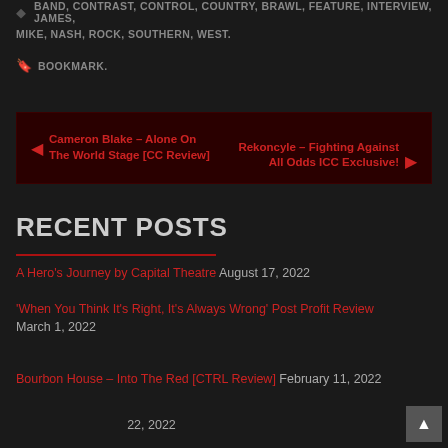BAND, CONTRAST, CONTROL, COUNTRY, BRAWL, FEATURE, INTERVIEW, JAMES, MIKE, NASH, ROCK, SOUTHERN, WEST.
BOOKMARK.
◄ Cameron Blake – Alone On The World Stage [CC Review]    Rekoncyle – Fighting Against All Odds ICC Exclusive! ►
RECENT POSTS
A Hero's Journey by Capital Theatre  August 17, 2022
'When You Think It's Right, It's Always Wrong' Post Profit Review  March 1, 2022
Bourbon House – Into The Red [CTRL Review]  February 11, 2022